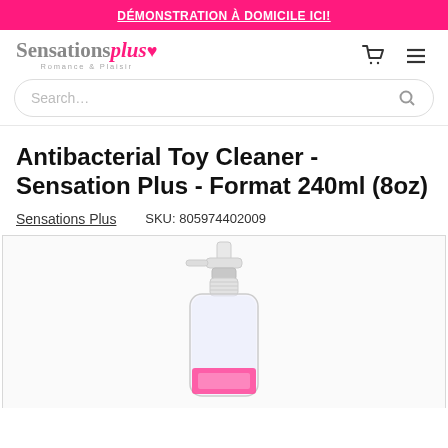DÉMONSTRATION À DOMICILE ICI!
[Figure (logo): Sensations Plus - Romance & Plaisir logo with pink handwritten 'Plus' and heart]
Search....
Antibacterial Toy Cleaner - Sensation Plus - Format 240ml (8oz)
Sensations Plus   SKU: 805974402009
[Figure (photo): A clear spray bottle with white pump top containing antibacterial toy cleaner, with a pink label visible at the bottom of the bottle]